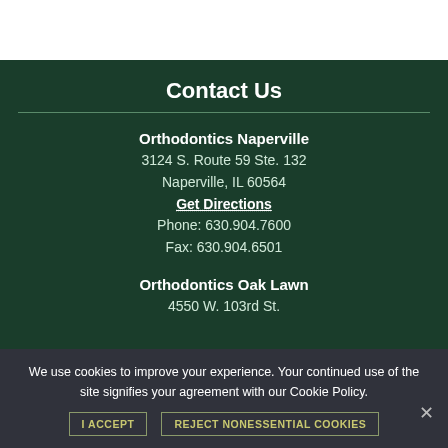Contact Us
Orthodontics Naperville
3124 S. Route 59 Ste. 132
Naperville, IL 60564
Get Directions
Phone: 630.904.7600
Fax: 630.904.6501
Orthodontics Oak Lawn
4550 W. 103rd St.
We use cookies to improve your experience. Your continued use of the site signifies your agreement with our Cookie Policy.
I ACCEPT   REJECT NONESSENTIAL COOKIES